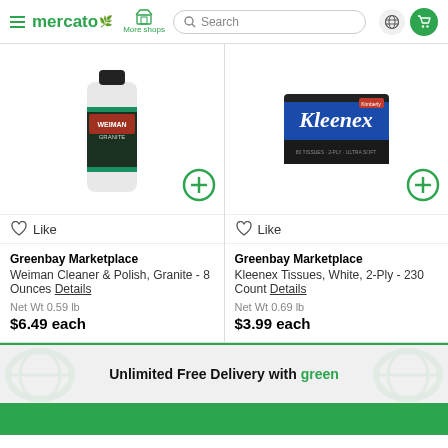mercato | More shops | Search
[Figure (photo): Weiman Granite Cleaner & Polish bottle product image]
[Figure (photo): Kleenex Tissues box product image]
Like
Like
Greenbay Marketplace
Weiman Cleaner & Polish, Granite - 8 Ounces Details
Net Wt 0.59 lb
$6.49 each
Greenbay Marketplace
Kleenex Tissues, White, 2-Ply - 230 Count Details
Net Wt 0.69 lb
$3.99 each
Unlimited Free Delivery with green